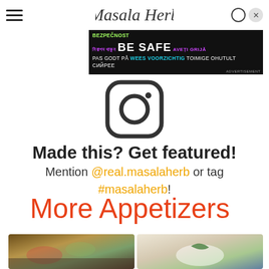Masala Herb
[Figure (advertisement): Be Safe multilingual advertisement banner with text in multiple languages including English, Bengali, Romanian, Norwegian, Estonian]
[Figure (logo): Instagram icon - rounded square with circle and dot]
Made this? Get featured!
Mention @real.masalaherb or tag #masalaherb!
More Appetizers
[Figure (photo): Food appetizer plate with figs and various items on wooden board]
[Figure (photo): Food appetizer on white plate with green pepper garnish]